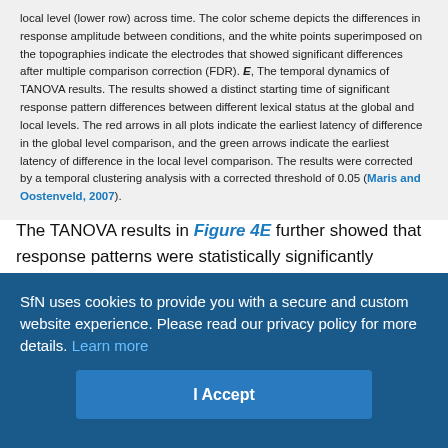local level (lower row) across time. The color scheme depicts the differences in response amplitude between conditions, and the white points superimposed on the topographies indicate the electrodes that showed significant differences after multiple comparison correction (FDR). E, The temporal dynamics of TANOVA results. The results showed a distinct starting time of significant response pattern differences between different lexical status at the global and local levels. The red arrows in all plots indicate the earliest latency of difference in the global level comparison, and the green arrows indicate the earliest latency of difference in the local level comparison. The results were corrected by a temporal clustering analysis with a corrected threshold of 0.05 (Maris and Oostenveld, 2007).
The TANOVA results in Figure 4E further showed that response patterns were statistically significantly different between processing the distinct lexical status at the global level began around 160 ms after the stimulus onset (Fig. 4E, red arrow), and the significant pattern differences at the local level began around 220 ms (Fig. 4E,
SfN uses cookies to provide you with a secure and custom website experience. Please read our privacy policy for more details. Learn more